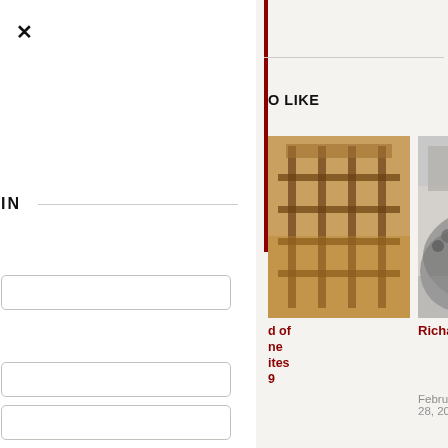×
IN
O LIKE
[Figure (photo): Painting of a traditional loom or weaving apparatus, warm brown and golden tones, partially cropped on left]
d of
ne
ites
9
[Figure (photo): Black and white historical photograph of a large crowd of people on a street, possibly a march or protest]
Richard Wilson's Long Walk
February 28, 2018
[Figure (illustration): Pencil or charcoal sketch of industrial machinery, showing gears and mechanical components]
Mungo
18
E FLAG
ll
Colne Bridge
cotton mill